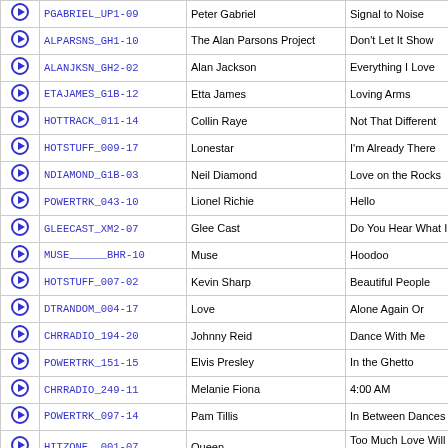|  | Code | Artist | Title |
| --- | --- | --- | --- |
| ▶ | PGABRIEL_UP1-09 | Peter Gabriel | Signal to Noise |
| ▶ | ALPARSNS_GH1-10 | The Alan Parsons Project | Don't Let It Show |
| ▶ | ALANJKSN_GH2-02 | Alan Jackson | Everything I Love |
| ▶ | ETAJAMES_G1B-12 | Etta James | Loving Arms |
| ▶ | HOTTRACK_011-14 | Collin Raye | Not That Different |
| ▶ | HOTSTUFF_009-17 | Lonestar | I'm Already There |
| ▶ | NDIAMOND_G1B-03 | Neil Diamond | Love on the Rocks |
| ▶ | POWERTRK_043-10 | Lionel Richie | Hello |
| ▶ | GLEECAST_XM2-07 | Glee Cast | Do You Hear What I Hear |
| ▶ | MUSE______BHR-10 | Muse | Hoodoo |
| ▶ | HOTSTUFF_007-02 | Kevin Sharp | Beautiful People |
| ▶ | DTRANDOM_004-17 | Love | Alone Again Or |
| ▶ | CHRRADIO_194-20 | Johnny Reid | Dance With Me |
| ▶ | POWERTRK_151-15 | Elvis Presley | In the Ghetto |
| ▶ | CHRRADIO_249-11 | Melanie Fiona | 4:00 AM |
| ▶ | POWERTRK_097-14 | Pam Tillis | In Between Dances |
| ▶ | HITZONE__001-07 | Queen | Too Much Love Will Kill You |
| ▶ | RADIO203_06A-06 | Celine Dion | Have You Ever Been in Love [Album Version] |
| ▶ | POWERTRK_028-19 | Freddy Martin | Tales From the Vienna Woods |
| ▶ | JESUSJNS_PRV-05 | Jesus Jones | Yellow Brown |
| ▶ | HALOWEEN_BST-06 | Bernard Herrmann | Psycho |
| ▶ |  |  |  |